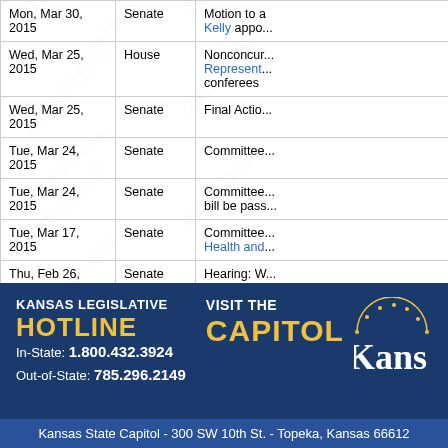| Date | Chamber | Action |
| --- | --- | --- |
| Mon, Mar 30, 2015 | Senate | Motion to a... Kelly appo... |
| Wed, Mar 25, 2015 | House | Nonconcur... Represent... conferees |
| Wed, Mar 25, 2015 | Senate | Final Actio... |
| Tue, Mar 24, 2015 | Senate | Committee... |
| Tue, Mar 24, 2015 | Senate | Committee... bill be pass... |
| Tue, Mar 17, 2015 | Senate | Committee... Health and... |
| Thu, Feb 26, 2015 | Senate | Hearing: W... |
| Fri, Feb 13, 2015 | Senate | Referred to... |
[Figure (other): Kansas Legislative Hotline footer banner with phone numbers, Visit the Capitol text, and Kansas state logo/seal]
Kansas State Capitol - 300 SW 10th St. - Topeka, Kansas 66612